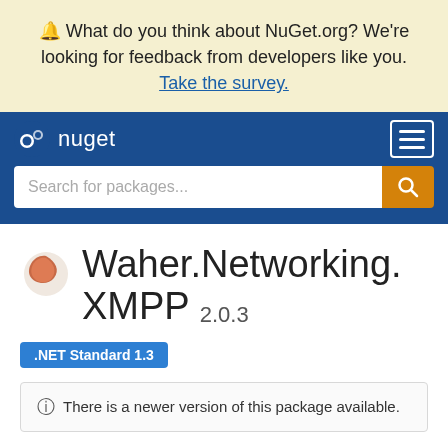🔔 What do you think about NuGet.org? We're looking for feedback from developers like you. Take the survey.
[Figure (logo): NuGet logo and navigation bar with hamburger menu icon]
Search for packages...
Waher.Networking.XMPP 2.0.3
.NET Standard 1.3
ⓘ There is a newer version of this package available.